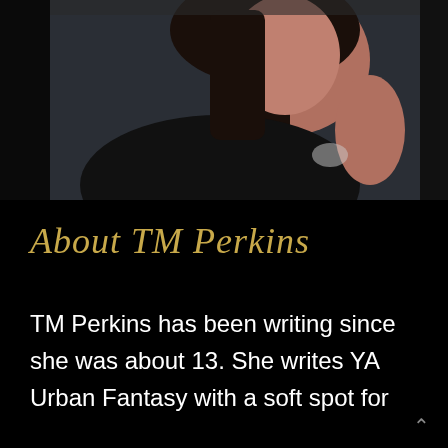[Figure (photo): Black and white photo of a woman with long dark hair wearing a black t-shirt, resting her chin on her hand, with a necklace visible. Dark background.]
About TM Perkins
TM Perkins has been writing since she was about 13. She writes YA Urban Fantasy with a soft spot for